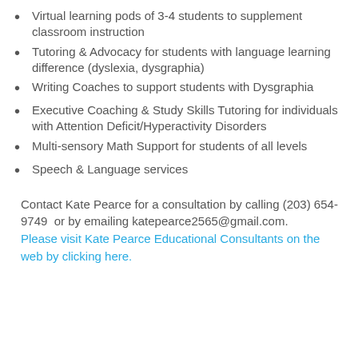Virtual learning pods of 3-4 students to supplement classroom instruction
Tutoring & Advocacy for students with language learning difference (dyslexia, dysgraphia)
Writing Coaches to support students with Dysgraphia
Executive Coaching & Study Skills Tutoring for individuals with Attention Deficit/Hyperactivity Disorders
Multi-sensory Math Support for students of all levels
Speech & Language services
Contact Kate Pearce for a consultation by calling (203) 654-9749  or by emailing katepearce2565@gmail.com. Please visit Kate Pearce Educational Consultants on the web by clicking here.